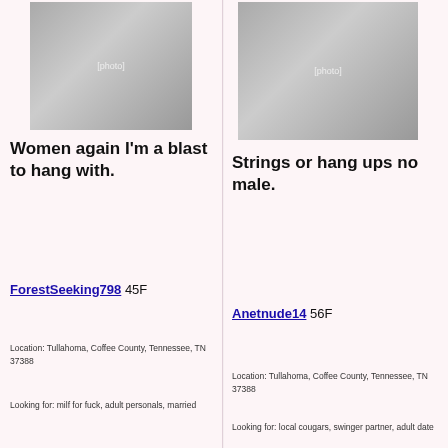[Figure (photo): Profile photo of a woman posing, left column]
Women again I'm a blast to hang with.
ForestSeeking798 45F
Location: Tullahoma, Coffee County, Tennessee, TN 37388
Looking for: milf for fuck, adult personals, married
[Figure (photo): Profile photo of a woman posing, right column]
Strings or hang ups no male.
Anetnude14 56F
Location: Tullahoma, Coffee County, Tennessee, TN 37388
Looking for: local cougars, swinger partner, adult date